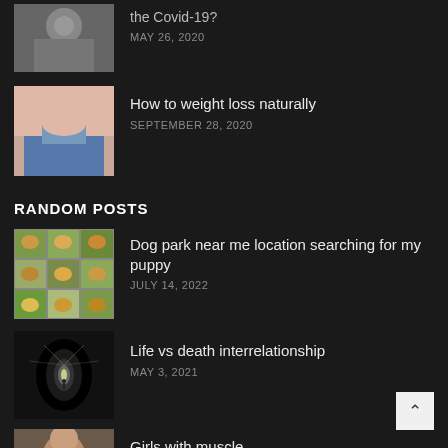the Covid-19? MAY 26, 2020
How to weight loss naturally SEPTEMBER 28, 2020
RANDOM POSTS
Dog park near me location searching for my puppy JULY 14, 2022
Life vs death interrelationship MAY 3, 2021
Girls with muscle